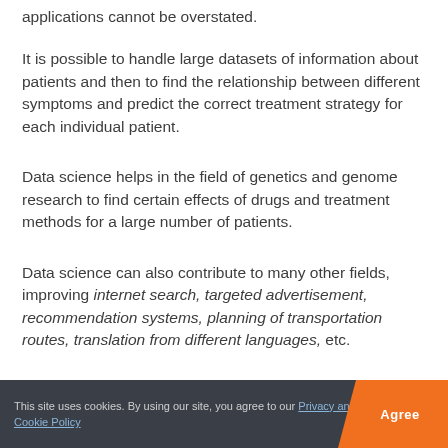applications cannot be overstated.
It is possible to handle large datasets of information about patients and then to find the relationship between different symptoms and predict the correct treatment strategy for each individual patient.
Data science helps in the field of genetics and genome research to find certain effects of drugs and treatment methods for a large number of patients.
Data science can also contribute to many other fields, improving internet search, targeted advertisement, recommendation systems, planning of transportation routes, translation from different languages, etc.
This site uses cookies. By using our site, you agree to our Privacy and Cookie Policy